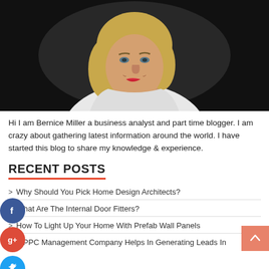[Figure (photo): Professional headshot of Bernice Miller, a woman with blonde hair wearing a white shirt and silver necklace, against a dark background.]
Hi I am Bernice Miller a business analyst and part time blogger. I am crazy about gathering latest information around the world. I have started this blog to share my knowledge & experience.
RECENT POSTS
Why Should You Pick Home Design Architects?
What Are The Internal Door Fitters?
How To Light Up Your Home With Prefab Wall Panels
A PPC Management Company Helps In Generating Leads In